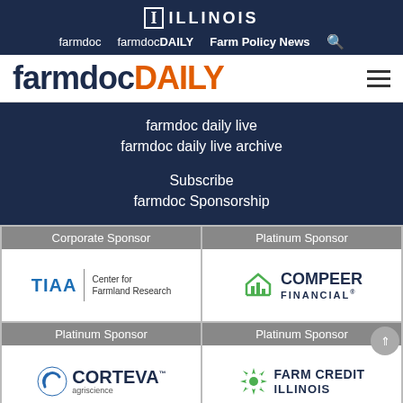I ILLINOIS
farmdoc  farmdocDAILY  Farm Policy News
farmdocDAILY
farmdoc daily live
farmdoc daily live archive
Subscribe
farmdoc Sponsorship
| Corporate Sponsor | Platinum Sponsor |
| --- | --- |
| TIAA | Center for Farmland Research | COMPEER FINANCIAL |
| Platinum Sponsor - Corteva agriscience | Platinum Sponsor - Farm Credit Illinois |
[Figure (logo): TIAA Center for Farmland Research logo]
[Figure (logo): Compeer Financial logo with house/bar chart icon]
[Figure (logo): Corteva Agriscience logo with blue spiral icon]
[Figure (logo): Farm Credit Illinois logo with green star/snowflake icon]